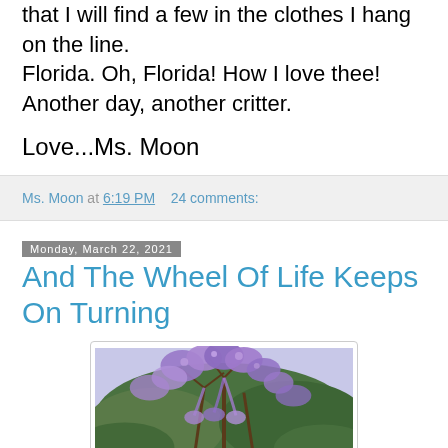that I will find a few in the clothes I hang on the line.
Florida. Oh, Florida! How I love thee!
Another day, another critter.
Love...Ms. Moon
Ms. Moon at 6:19 PM   24 comments:
Monday, March 22, 2021
And The Wheel Of Life Keeps On Turning
[Figure (photo): Photo of purple flowering tree (likely jacaranda) with clusters of purple blossoms and green foliage]